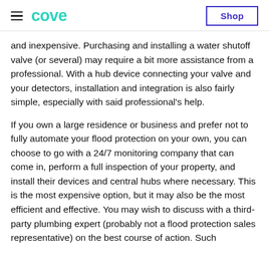cove | Shop
and inexpensive. Purchasing and installing a water shutoff valve (or several) may require a bit more assistance from a professional. With a hub device connecting your valve and your detectors, installation and integration is also fairly simple, especially with said professional's help.
If you own a large residence or business and prefer not to fully automate your flood protection on your own, you can choose to go with a 24/7 monitoring company that can come in, perform a full inspection of your property, and install their devices and central hubs where necessary. This is the most expensive option, but it may also be the most efficient and effective. You may wish to discuss with a third-party plumbing expert (probably not a flood protection sales representative) on the best course of action. Such